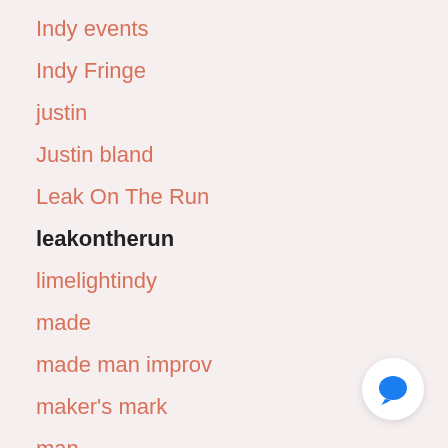Indy events
Indy Fringe
justin
Justin bland
Leak On The Run
leakontherun
limelightindy
made
made man improv
maker's mark
man
melonkitchens
midwest
midwestleak